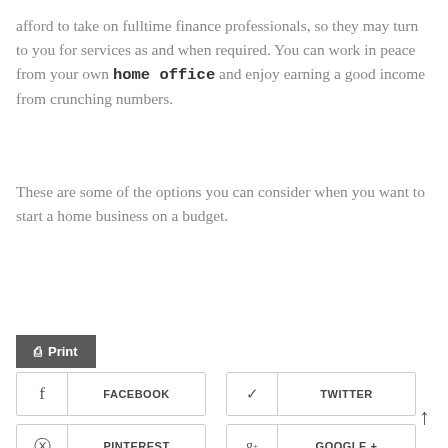afford to take on fulltime finance professionals, so they may turn to you for services as and when required. You can work in peace from your own home office and enjoy earning a good income from crunching numbers.
These are some of the options you can consider when you want to start a home business on a budget.
[Figure (infographic): Social share buttons row: Facebook (blue), Tweet (light blue), Pin (red), LinkedIn (teal), and a Print button (dark grey) below.]
[Figure (infographic): Outline social share buttons grid: Facebook, Twitter, Pinterest, Google+, with icons and labels. An up arrow at bottom right.]